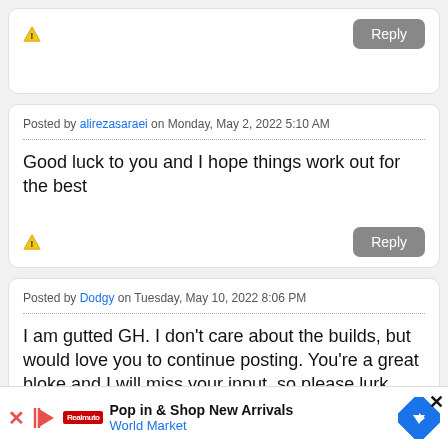Posted by alirezasaraei on Monday, May 2, 2022 5:10 AM
Good luck to you and I hope things work out for the best
Posted by Dodgy on Tuesday, May 10, 2022 8:06 PM
I am gutted GH. I don't care about the builds, but would love you to continue posting. You're a great bloke and I will miss your input, so please lurk, lurk, lurk
Pop in & Shop New Arrivals World Market